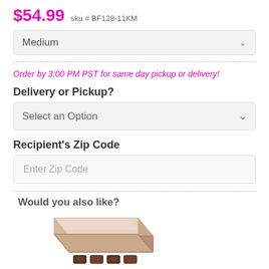$54.99  sku # BF128-11KM
Medium
Order by 3:00 PM PST for same day pickup or delivery!
Delivery or Pickup?
Select an Option
Recipient's Zip Code
Enter Zip Code
Would you also like?
[Figure (photo): A box of chocolates, pink/rose gift box with chocolates visible at the bottom.]